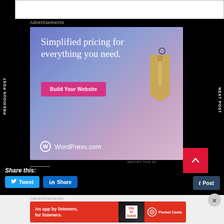[Figure (screenshot): Partial white content area at top]
Advertisements
[Figure (photo): WordPress.com advertisement: 'Simplified pricing for everything you need.' with Build Your Website button and price tag graphic]
REPORT THIS AD
PREVIOUS POST
NEXT POST
Share this:
Tweet
Share
Post
Advertisements
[Figure (photo): Pocket Casts advertisement: 'An app by listeners, for listeners.']